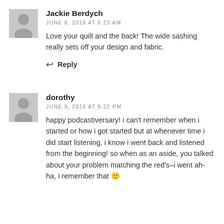[Figure (illustration): Generic gray user avatar silhouette icon for Jackie Berdych]
Jackie Berdych
JUNE 8, 2016 AT 6:23 AM
Love your quilt and the back! The wide sashing really sets off your design and fabric.
↩ Reply
[Figure (illustration): Generic gray user avatar silhouette icon for dorothy]
dorothy
JUNE 9, 2016 AT 5:22 PM
happy podcastiversary! i can't remember when i started or how i got started but at whenever time i did start listening, i know i went back and listened from the beginning! so when as an aside, you talked about your problem matching the red's–i went ah-ha, i remember that 🙂